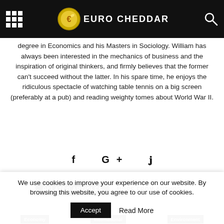Euro Cheddar
degree in Economics and his Masters in Sociology. William has always been interested in the mechanics of business and the inspiration of original thinkers, and firmly believes that the former can't succeed without the latter. In his spare time, he enjoys the ridiculous spectacle of watching table tennis on a big screen (preferably at a pub) and reading weighty tomes about World War II.
f G+ 𝐠
RELATED ARTICLES | MORE FROM AUTHOR
Economy | International | Environment
We use cookies to improve your experience on our website. By browsing this website, you agree to our use of cookies.
Accept   Read More